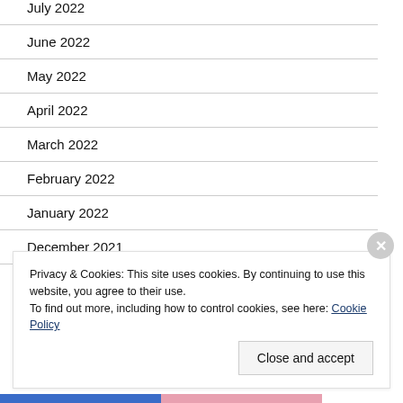July 2022
June 2022
May 2022
April 2022
March 2022
February 2022
January 2022
December 2021
Privacy & Cookies: This site uses cookies. By continuing to use this website, you agree to their use.
To find out more, including how to control cookies, see here: Cookie Policy
Close and accept